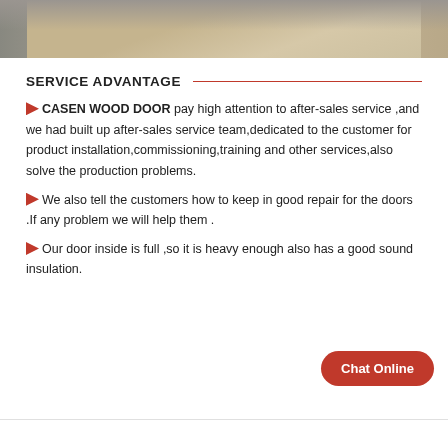[Figure (photo): Partial view of a room with a wooden box/furniture piece on a textured carpet]
SERVICE ADVANTAGE
CASEN WOOD DOOR pay high attention to after-sales service ,and we had built up after-sales service team,dedicated to the customer for product installation,commissioning,training and other services,also solve the production problems.
We also tell the customers how to keep in good repair for the doors .If any problem we will help them .
Our door inside is full ,so it is heavy enough also has a good sound insulation.